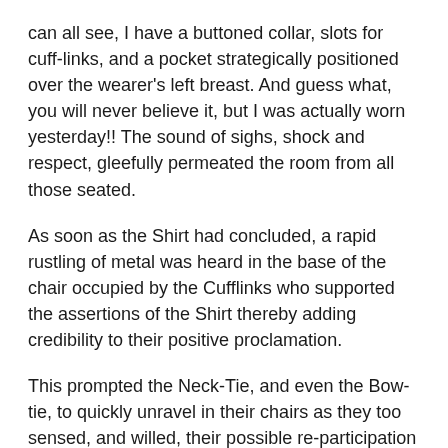can all see, I have a buttoned collar, slots for cuff-links, and a pocket strategically positioned over the wearer's left breast. And guess what, you will never believe it, but I was actually worn yesterday!! The sound of sighs, shock and respect, gleefully permeated the room from all those seated.
As soon as the Shirt had concluded, a rapid rustling of metal was heard in the base of the chair occupied by the Cufflinks who supported the assertions of the Shirt thereby adding credibility to their positive proclamation.
This prompted the Neck-Tie, and even the Bow-tie, to quickly unravel in their chairs as they too sensed, and willed, their possible re-participation back into corporate office life.